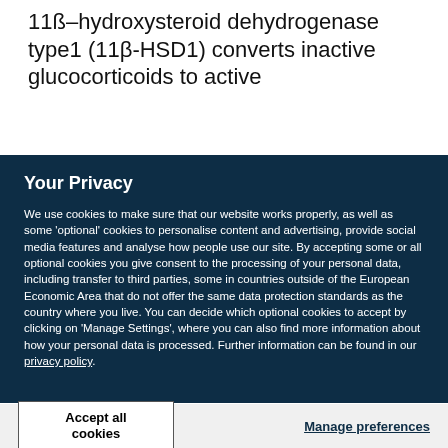11ß–hydroxysteroid dehydrogenase type1 (11β-HSD1) converts inactive glucocorticoids to active
Your Privacy
We use cookies to make sure that our website works properly, as well as some 'optional' cookies to personalise content and advertising, provide social media features and analyse how people use our site. By accepting some or all optional cookies you give consent to the processing of your personal data, including transfer to third parties, some in countries outside of the European Economic Area that do not offer the same data protection standards as the country where you live. You can decide which optional cookies to accept by clicking on 'Manage Settings', where you can also find more information about how your personal data is processed. Further information can be found in our privacy policy.
Accept all cookies
Manage preferences